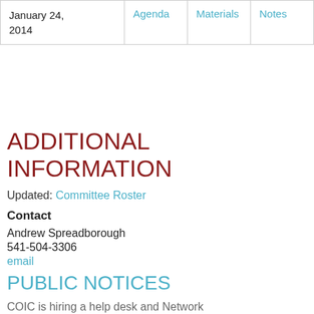|  | Agenda | Materials | Notes |
| --- | --- | --- | --- |
| January 24, 2014 | Agenda | Materials | Notes |
ADDITIONAL INFORMATION
Updated: Committee Roster
Contact
Andrew Spreadborough
541-504-3306
email
PUBLIC NOTICES
COIC is hiring a help desk and Network technican!